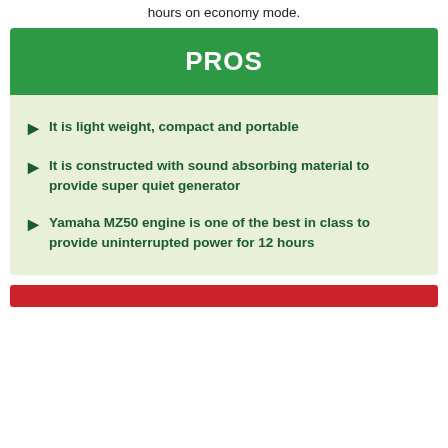hours on economy mode.
PROS
It is light weight, compact and portable
It is constructed with sound absorbing material to provide super quiet generator
Yamaha MZ50 engine is one of the best in class to provide uninterrupted power for 12 hours